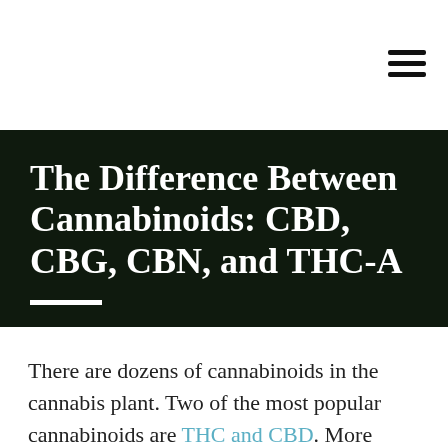The Difference Between Cannabinoids: CBD, CBG, CBN, and THC-A
There are dozens of cannabinoids in the cannabis plant. Two of the most popular cannabinoids are THC and CBD. More people know about these two cannabinoids because they usually get the focus